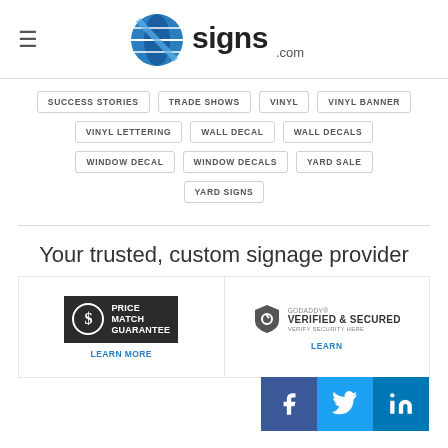signs.com
SUCCESS STORIES
TRADE SHOWS
VINYL
VINYL BANNER
VINYL LETTERING
WALL DECAL
WALL DECALS
WINDOW DECAL
WINDOW DECALS
YARD SALE
YARD SIGNS
Your trusted, custom signage provider
[Figure (logo): Price Match Guarantee badge in dark background]
LEARN MORE
[Figure (logo): GoDaddy Verified & Secured badge with shield icon]
LEARN MORE
[Figure (infographic): Social media buttons: Facebook, Twitter, LinkedIn]